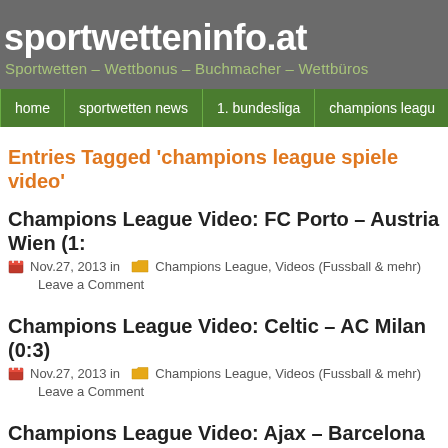sportwetteninfo.at
Sportwetten – Wettbonus – Buchmacher – Wettbüros
home | sportwetten news | 1. bundesliga | champions league
Entries Tagged 'champions league spiele video'
Champions League Video: FC Porto – Austria Wien (1:
Nov.27, 2013 in  Champions League, Videos (Fussball & mehr)
Leave a Comment
Champions League Video: Celtic – AC Milan (0:3)
Nov.27, 2013 in  Champions League, Videos (Fussball & mehr)
Leave a Comment
Champions League Video: Ajax – Barcelona (2:1)